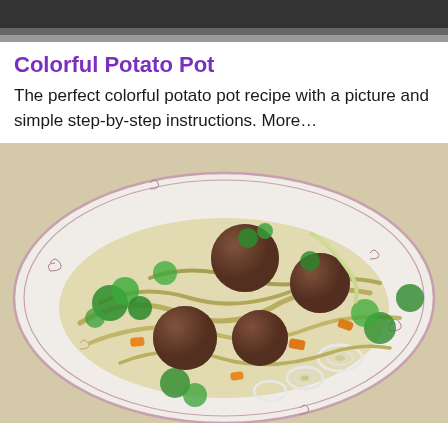[Figure (photo): Partial top image of food/dish, dark background, cropped at top of page]
Colorful Potato Pot
The perfect colorful potato pot recipe with a picture and simple step-by-step instructions. More...
[Figure (photo): A decorative white plate with floral border pattern containing meatballs with noodles, carrots, green herbs (parsley), leek rings, and vegetables in a light sauce]